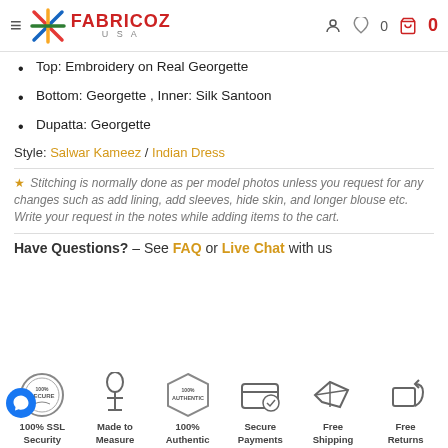FABRICOZ USA
Top: Embroidery on Real Georgette
Bottom: Georgette , Inner: Silk Santoon
Dupatta: Georgette
Style: Salwar Kameez / Indian Dress
Stitching is normally done as per model photos unless you request for any changes such as add lining, add sleeves, hide skin, and longer blouse etc. Write your request in the notes while adding items to the cart.
Have Questions? – See FAQ or Live Chat with us
[Figure (infographic): Six trust badge icons: 100% SSL Security, Made to Measure, 100% Authentic, Secure Payments, Free Shipping, Free Returns]